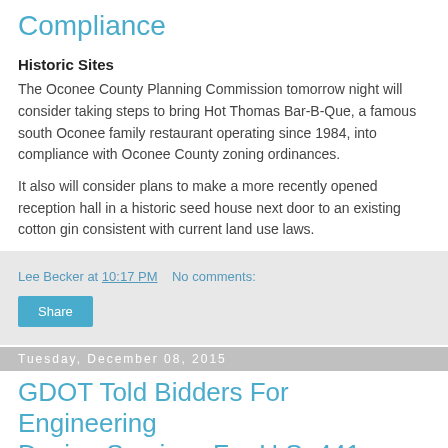Compliance
Historic Sites
The Oconee County Planning Commission tomorrow night will consider taking steps to bring Hot Thomas Bar-B-Que, a famous south Oconee family restaurant operating since 1984, into compliance with Oconee County zoning ordinances.
It also will consider plans to make a more recently opened reception hall in a historic seed house next door to an existing cotton gin consistent with current land use laws.
Lee Becker at 10:17 PM   No comments:
Share
Tuesday, December 08, 2015
GDOT Told Bidders For Engineering Design Services For U.S. 441